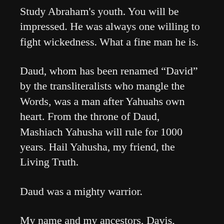Study Abraham's youth. You will be impressed. He was always one willing to fight wickedness. What a fine man he is.
Daud, whom has been renamed “David” by the transliteralists who mangle the Words, was a man after Yahuahs own heart. From the throne of Daud, Mashiach Yahusha will rule for 1000 years. Hail Yahusha, my friend, the Living Truth.
Daud was a mighty warrior.
My name and my ancestors, Davis, comes from a region near Wales, on the island of Britian. My name is a creation of the English-speaking